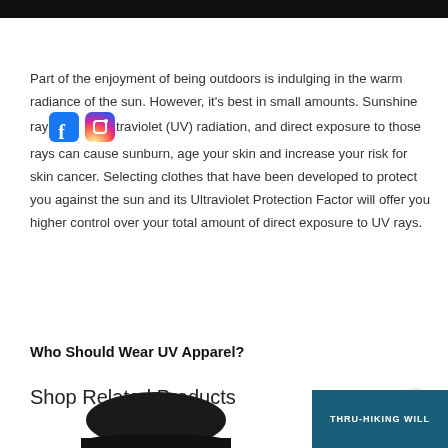Part of the enjoyment of being outdoors is indulging in the warm radiance of the sun. However, it’s best in small amounts. Sunshine rays [facebook icon][instagram icon] traviolet (UV) radiation, and direct exposure to those rays can cause sunburn, age your skin and increase your risk for skin cancer. Selecting clothes that have been developed to protect you against the sun and its Ultraviolet Protection Factor will offer you higher control over your total amount of direct exposure to UV rays.
Who Should Wear UV Apparel?
Shop Related Products
[Figure (photo): Bottom portion showing a dark hat product on the left and a dark teal banner on the right reading THRU-HIKING WILL]